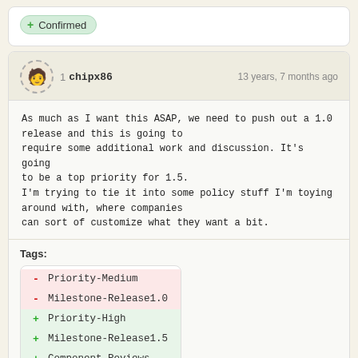+ Confirmed
1 chipx86    13 years, 7 months ago
As much as I want this ASAP, we need to push out a 1.0 release and this is going to require some additional work and discussion. It's going to be a top priority for 1.5. I'm trying to tie it into some policy stuff I'm toying around with, where companies can sort of customize what they want a bit.
Tags:
- Priority-Medium
- Milestone-Release1.0
+ Priority-High
+ Milestone-Release1.5
+ Component-Reviews